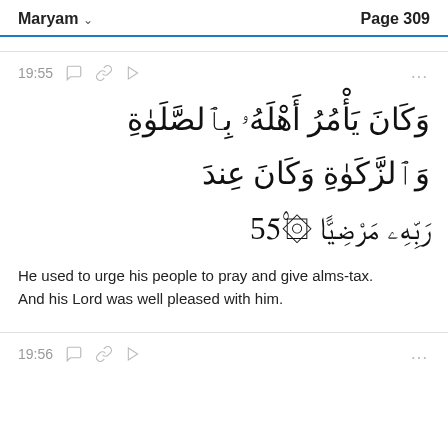Maryam   Page 309
19:55
وَكَانَ يَأْمُرُ أَهْلَهُۥ بِٱلصَّلَوٰةِ وَٱلزَّكَوٰةِ وَكَانَ عِندَ رَبِّهِۦ مَرْضِيًّا ۞
He used to urge his people to pray and give alms-tax. And his Lord was well pleased with him.
19:56